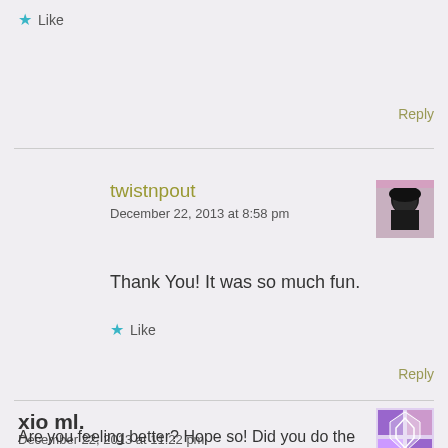Like
Reply
twistnpout
December 22, 2013 at 8:58 pm
Thank You! It was so much fun.
Like
Reply
xio ml.
December 22, 2013 at 11:22 pm
Are you feeling better? Hope so! Did you do the